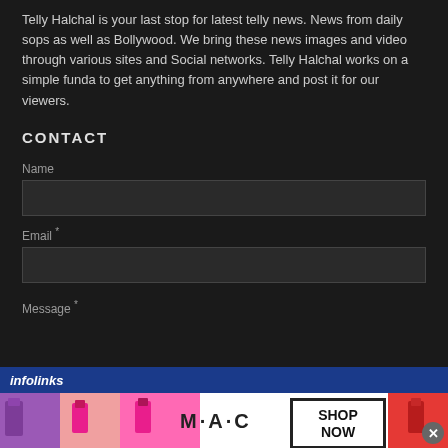Telly Halchal is your last stop for latest telly news. News from daily sops as well as Bollywood. We bring these news images and video through various sites and Social networks. Telly Halchal works on a simple funda to get anything from anywhere and post it for our viewers.
CONTACT
Name
Email *
Message *
[Figure (screenshot): Infolinks ad bar overlay with blue background showing 'infolinks' text and MAC cosmetics advertisement banner showing lipsticks with M.A.C logo and SHOP NOW button, with a close (x) button]